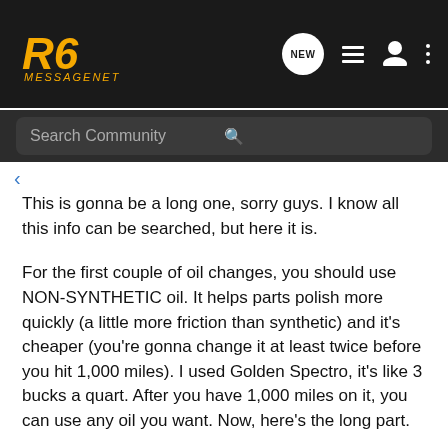R6 MessageNet
Search Community
This is gonna be a long one, sorry guys. I know all this info can be searched, but here it is.
For the first couple of oil changes, you should use NON-SYNTHETIC oil. It helps parts polish more quickly (a little more friction than synthetic) and it's cheaper (you're gonna change it at least twice before you hit 1,000 miles). I used Golden Spectro, it's like 3 bucks a quart. After you have 1,000 miles on it, you can use any oil you want. Now, here's the long part.
Which oil/filter to use is a never-ending argument. Bottom line is this: If you change the oil regularly, any motorcycle oil of factory-recommended viscosity and SAE rating will perform just fine. You can spend 10 bucks a quart on super-slick "race oil"